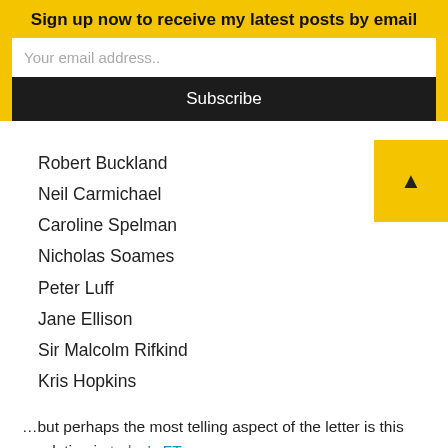Sign up now to receive my latest posts by email
Your email address..
Subscribe
Robert Buckland
Neil Carmichael
Caroline Spelman
Nicholas Soames
Peter Luff
Jane Ellison
Sir Malcolm Rifkind
Kris Hopkins
…but perhaps the most telling aspect of the letter is this revelation in today's FT:
Such is the anti-European sentiment in the party that only 15 of the signatories allowed their names to be published. Another 10 insisted on anonymity in the face of virulent anti-European sentiment in their local associations.
How far has the Tory party come since 1988 and Margaret Thatcher's